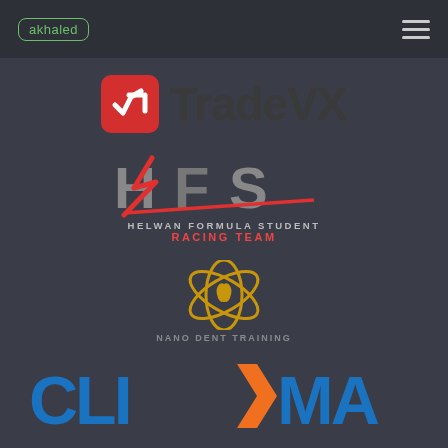akhaled | menu
[Figure (logo): TradeVX logo: red square icon with white checkmark/arrow symbol, followed by bold dark text 'TradeVX']
[Figure (logo): HFS logo: stylized HFS letters in gray with red lightning bolt accent. Below: 'HELWAN FORMULA STUDENT' in light text, 'RACING TEAM' in red bold text]
[Figure (logo): Dental clinic logo: golden orbital/atom ring design around a tooth shape. Text below in muted gray letters (partially obscured)]
[Figure (logo): CLIXMA logo: large bold text, 'CLIX' in blue, angular X/arrow in orange, 'MA' in blue]